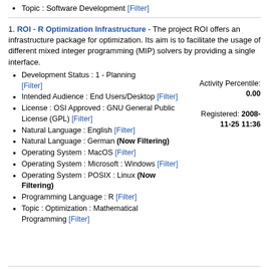Topic : Software Development [Filter]
1. ROI - R Optimization Infrastructure - The project ROI offers an infrastructure package for optimization. Its aim is to facilitate the usage of different mixed integer programming (MIP) solvers by providing a single interface.
Development Status : 1 - Planning [Filter]
Intended Audience : End Users/Desktop [Filter]
License : OSI Approved : GNU General Public License (GPL) [Filter]
Natural Language : English [Filter]
Natural Language : German (Now Filtering)
Operating System : MacOS [Filter]
Operating System : Microsoft : Windows [Filter]
Operating System : POSIX : Linux (Now Filtering)
Programming Language : R [Filter]
Topic : Optimization : Mathematical Programming [Filter]
Activity Percentile: 0.00
Registered: 2008-11-25 11:36